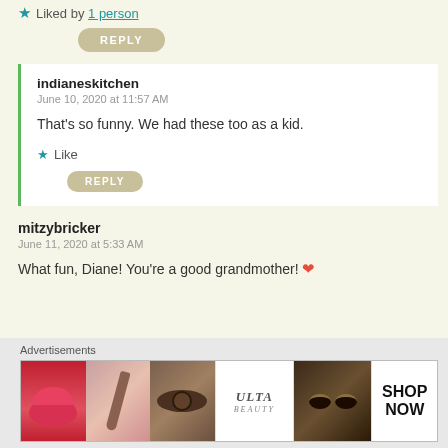Liked by 1 person
REPLY
indianeskitchen
June 10, 2020 at 11:57 AM
That's so funny. We had these too as a kid.
Like
REPLY
mitzybricker
June 11, 2020 at 5:33 AM
What fun, Diane! You're a good grandmother! ❤
Advertisements
[Figure (photo): Ulta beauty advertisement banner with makeup imagery including lips, brush, eye, Ulta logo, and Shop Now text]